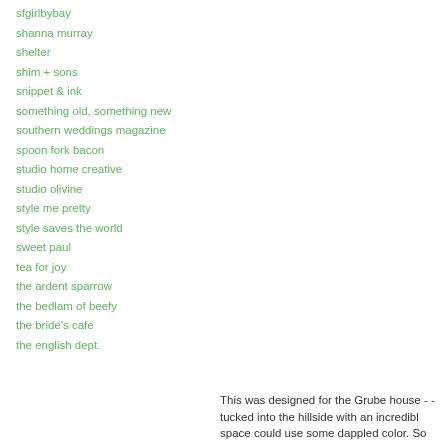sfgirlbybay
shanna murray
shelter
shim + sons
snippet & ink
something old, something new
southern weddings magazine
spoon fork bacon
studio home creative
studio olivine
style me pretty
style saves the world
sweet paul
tea for joy
the ardent sparrow
the bedlam of beefy
the bride's cafe
the english dept.
This was designed for the Grube house - - tucked into the hillside with an incredible space could use some dappled color. So